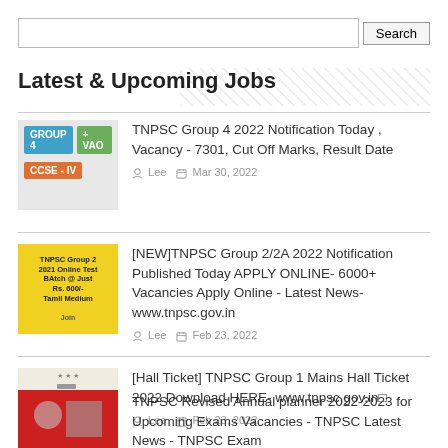Search [search input]
Latest & Upcoming Jobs
TNPSC Group 4 2022 Notification Today , Vacancy - 7301, Cut Off Marks, Result Date
Lee  Mar 30, 2022
[NEW]TNPSC Group 2/2A 2022 Notification Published Today APPLY ONLINE- 6000+ Vacancies Apply Online - Latest News- www.tnpsc.gov.in
Lee  Feb 23, 2022
[Hall Ticket] TNPSC Group 1 Mains Hall Ticket 2022 Download HERE- www.tnpsc.gov.in
Lee  Feb 23, 2022
TNPSC Revised Annual planner 2022-2023 for Upcoming Exams Vacancies - TNPSC Latest News - TNPSC Exam